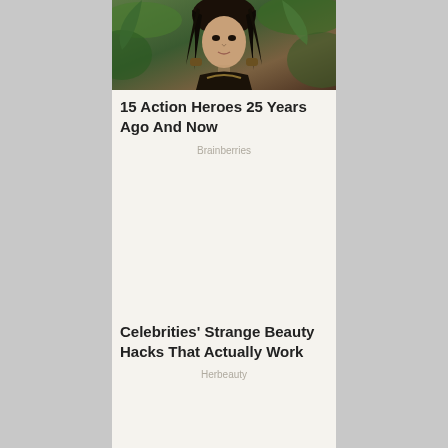[Figure (photo): A woman in dark warrior costume with long dark hair, crouching forward, with lush green foliage in the background. Appears to be a still from an action TV show or film.]
15 Action Heroes 25 Years Ago And Now
Brainberries
Celebrities' Strange Beauty Hacks That Actually Work
Herbeauty